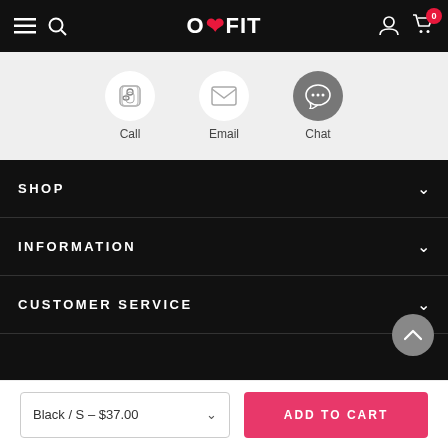O❤FIT — Navigation bar with menu, search, logo, account, cart (0)
[Figure (screenshot): Contact options row with three circular icons for Call, Email, Chat on a light grey background]
SHOP
INFORMATION
CUSTOMER SERVICE
[Figure (illustration): Facebook icon in white on black background]
Black / S – $37.00
ADD TO CART